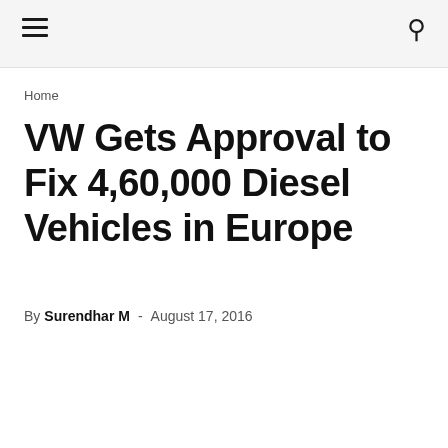≡  🔍
Home
VW Gets Approval to Fix 4,60,000 Diesel Vehicles in Europe
By Surendhar M - August 17, 2016